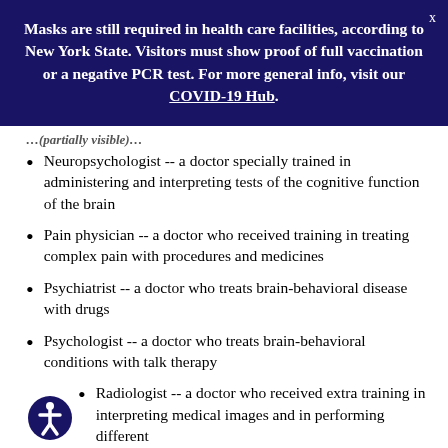Masks are still required in health care facilities, according to New York State. Visitors must show proof of full vaccination or a negative PCR test. For more general info, visit our COVID-19 Hub.
Neuropsychologist -- a doctor specially trained in administering and interpreting tests of the cognitive function of the brain
Pain physician -- a doctor who received training in treating complex pain with procedures and medicines
Psychiatrist -- a doctor who treats brain-behavioral disease with drugs
Psychologist -- a doctor who treats brain-behavioral conditions with talk therapy
Radiologist -- a doctor who received extra training in interpreting medical images and in performing different